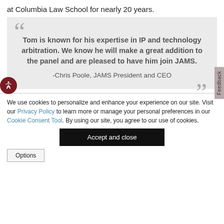at Columbia Law School for nearly 20 years.
Tom is known for his expertise in IP and technology arbitration. We know he will make a great addition to the panel and are pleased to have him join JAMS. -Chris Poole, JAMS President and CEO
We use cookies to personalize and enhance your experience on our site. Visit our Privacy Policy to learn more or manage your personal preferences in our Cookie Consent Tool. By using our site, you agree to our use of cookies.
Accept and close
Options